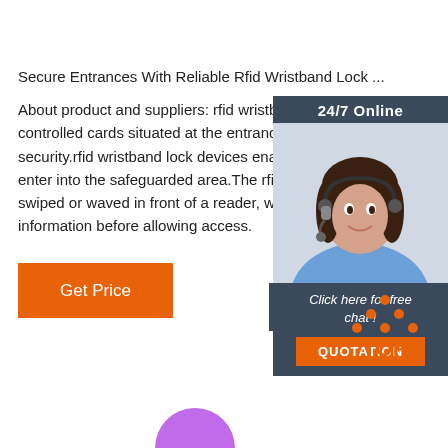Secure Entrances With Reliable Rfid Wristband Lock ...
About product and suppliers: rfid wristband lock sets controlled cards situated at the entrances of buildings security.rfid wristband lock devices enable only auth enter into the safeguarded area.The rfid wristband l swiped or waved in front of a reader, which then ver information before allowing access.
[Figure (other): Customer service agent photo with 24/7 Online label, Click here for free chat!, and QUOTATION button on dark blue panel]
[Figure (logo): TOP logo with orange dots arranged in triangle above the word TOP in orange]
[Figure (other): Purple semicircle at bottom of page]